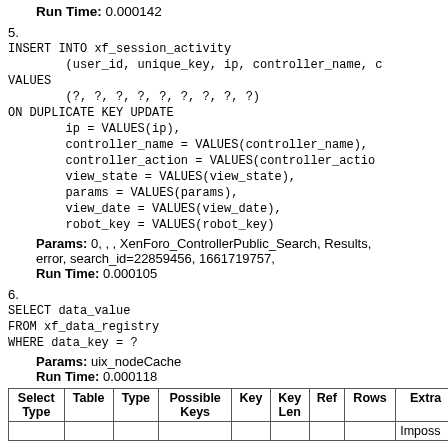Run Time: 0.000142
5. INSERT INTO xf_session_activity
            (user_id, unique_key, ip, controller_name, ...
   VALUES
            (?, ?, ?, ?, ?, ?, ?, ?, ?)
   ON DUPLICATE KEY UPDATE
            ip = VALUES(ip),
            controller_name = VALUES(controller_name),
            controller_action = VALUES(controller_action),
            view_state = VALUES(view_state),
            params = VALUES(params),
            view_date = VALUES(view_date),
            robot_key = VALUES(robot_key)
Params: 0, , , XenForo_ControllerPublic_Search, Results, error, search_id=22859456, 1661719757,
Run Time: 0.000105
6. SELECT data_value
   FROM xf_data_registry
   WHERE data_key = ?
Params: uix_nodeCache
Run Time: 0.000118
| Select Type | Table | Type | Possible Keys | Key | Key Len | Ref | Rows | Extra |
| --- | --- | --- | --- | --- | --- | --- | --- | --- |
|  |  |  |  |  |  |  |  | Imposs |